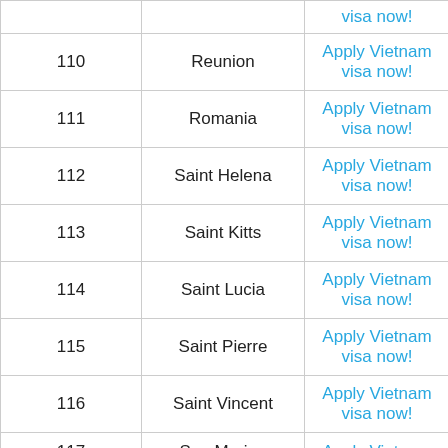| # | Country | Link |
| --- | --- | --- |
|  |  | visa now! |
| 110 | Reunion | Apply Vietnam visa now! |
| 111 | Romania | Apply Vietnam visa now! |
| 112 | Saint Helena | Apply Vietnam visa now! |
| 113 | Saint Kitts | Apply Vietnam visa now! |
| 114 | Saint Lucia | Apply Vietnam visa now! |
| 115 | Saint Pierre | Apply Vietnam visa now! |
| 116 | Saint Vincent | Apply Vietnam visa now! |
| 117 | San Marino | Apply Vietnam visa now! |